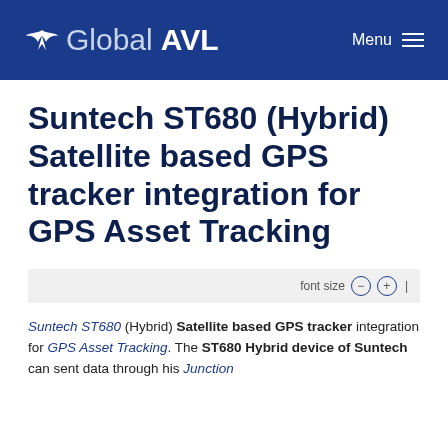Global AVL | Menu
Suntech ST680 (Hybrid) Satellite based GPS tracker integration for GPS Asset Tracking
font size − +
Suntech ST680 (Hybrid) Satellite based GPS tracker integration for GPS Asset Tracking. The ST680 Hybrid device of Suntech can sent data through his Junction